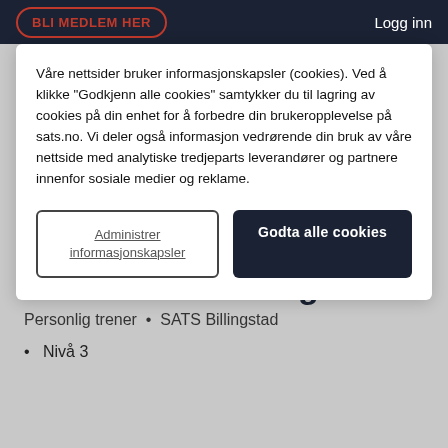BLI MEDLEM HER   Logg inn
Våre nettsider bruker informasjonskapsler (cookies). Ved å klikke "Godkjenn alle cookies" samtykker du til lagring av cookies på din enhet for å forbedre din brukeropplevelse på sats.no. Vi deler også informasjon vedrørende din bruk av våre nettside med analytiske tredjeparts leverandører og partnere innenfor sosiale medier og reklame.
Administrer informasjonskapsler
Godta alle cookies
Staffan Söderberg
Personlig trener  •  SATS Billingstad
Nivå 3